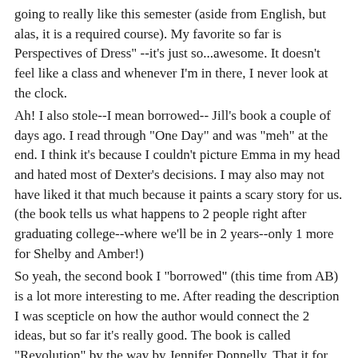going to really like this semester (aside from English, but alas, it is a required course). My favorite so far is Perspectives of Dress" --it's just so...awesome. It doesn't feel like a class and whenever I'm in there, I never look at the clock.
Ah! I also stole--I mean borrowed-- Jill's book a couple of days ago. I read through "One Day" and was "meh" at the end. I think it's because I couldn't picture Emma in my head and hated most of Dexter's decisions. I may also may not have liked it that much because it paints a scary story for us. (the book tells us what happens to 2 people right after graduating college--where we'll be in 2 years--only 1 more for Shelby and Amber!)
So yeah, the second book I "borrowed" (this time from AB) is a lot more interesting to me. After reading the description I was scepticle on how the author would connect the 2 ideas, but so far it's really good. The book is called "Revolution" by the way by Jennifer Donnelly. That it for this week's Creeper Wednesday'a blog! Rachael